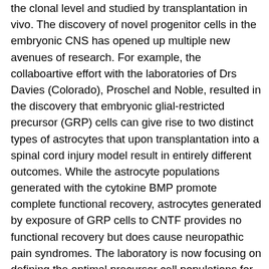the clonal level and studied by transplantation in vivo. The discovery of novel progenitor cells in the embryonic CNS has opened up multiple new avenues of research. For example, the collaboartive effort with the laboratories of Drs Davies (Colorado), Proschel and Noble, resulted in the discovery that embryonic glial-restricted precursor (GRP) cells can give rise to two distinct types of astrocytes that upon transplantation into a spinal cord injury model result in entirely different outcomes. While the astrocyte populations generated with the cytokine BMP promote complete functional recovery, astrocytes generated by exposure of GRP cells to CNTF provides no functional recovery but does cause neuropathic pain syndromes. The laboratory is now focusing on defining the optimal precursor cell populations for transplantation repair strategies that result in beneficial and predictable therapeutic outcomes and that eliminate the risk for causing more harm than benefit. Along with the identification of precursor cells and their suitability for therapeutic application, the laboratory is invested in understanding the developmental windows during which precursor cell function coincide with windows of